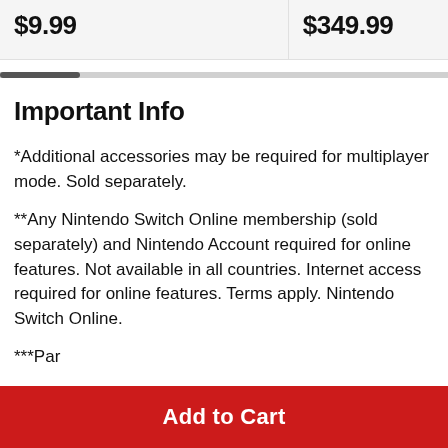$9.99
$349.99
Important Info
*Additional accessories may be required for multiplayer mode. Sold separately.
**Any Nintendo Switch Online membership (sold separately) and Nintendo Account required for online features. Not available in all countries. Internet access required for online features. Terms apply. Nintendo Switch Online.
Add to Cart